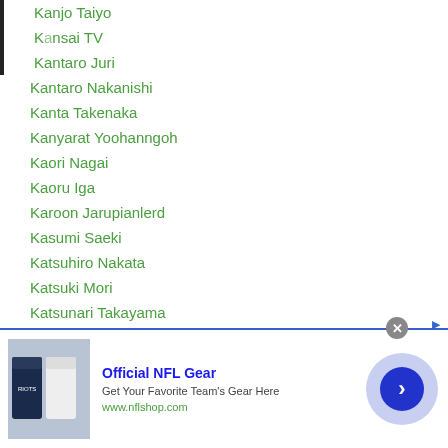Kanjo Taiyo
Kansai TV
Kantaro Juri
Kantaro Nakanishi
Kanta Takenaka
Kanyarat Yoohanngoh
Kaori Nagai
Kaoru Iga
Karoon Jarupianlerd
Kasumi Saeki
Katsuhiro Nakata
Katsuki Mori
Katsunari Takayama
Katsunori Endo
Katsunori Nagamine
Katsuya Fukui
[Figure (screenshot): Ad banner for Official NFL Gear from nflshop.com with infolinks bar overlay]